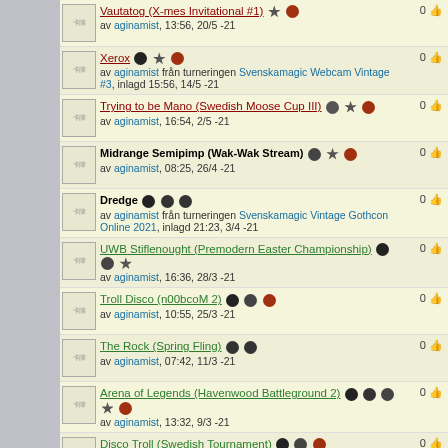Vautatog (X-mes Invitational #1) av aginamist, 13:56, 20/5 -21 | 0
Xerox av aginamist från turneringen Svenskamagic Webcam Vintage #3, inlagd 15:56, 14/5 -21 | 0
Trying to be Mano (Swedish Moose Cup III) av aginamist, 16:54, 2/5 -21 | 0
Midrange Semipimp (Wak-Wak Stream) av aginamist, 08:25, 26/4 -21 | 0
Dredge av aginamist från turneringen Svenskamagic Vintage Gothcon Online 2021, inlagd 21:23, 3/4 -21 | 0
UWB Stiflenought (Premodern Easter Championship) av aginamist, 16:36, 28/3 -21 | 0
Troll Disco (n00bcoM 2) av aginamist, 10:55, 25/3 -21 | 0
The Rock (Spring Fling) av aginamist, 07:42, 11/3 -21 | 0
Arena of Legends (Havenwood Battleground 2) av aginamist, 13:32, 9/3 -21 | 0
Disco Troll (Swedish Tournament) av aginamist, 17:39, 8/2 -21 | 0
Lord's Sacrifice ver 0.1 (Wak-wak stream) av aginamist, 10:55, 26/1 -21 | 0